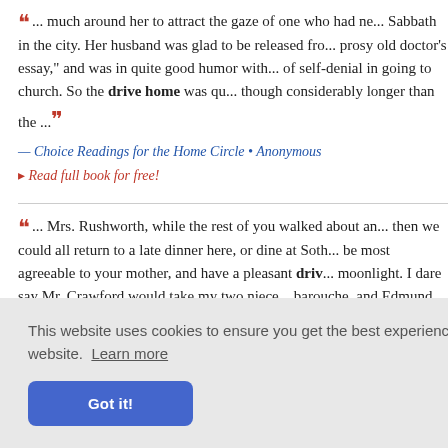"... much around her to attract the gaze of one who had ne... Sabbath in the city. Her husband was glad to be released fro... prosy old doctor's essay," and was in quite good humor with... of self-denial in going to church. So the drive home was qu... though considerably longer than the ..."
— Choice Readings for the Home Circle • Anonymous
▸ Read full book for free!
"... Mrs. Rushworth, while the rest of you walked about an... then we could all return to a late dinner here, or dine at Soth... be most agreeable to your mother, and have a pleasant driv... moonlight. I dare say Mr. Crawford would take my two niece... barouche, and Edmund can go on horseback, you know, sis..."
Godensky... ovements–... thought that I was seeing Raoul for the last time, and sendin...
This website uses cookies to ensure you get the best experience on our website. Learn more
Got it!